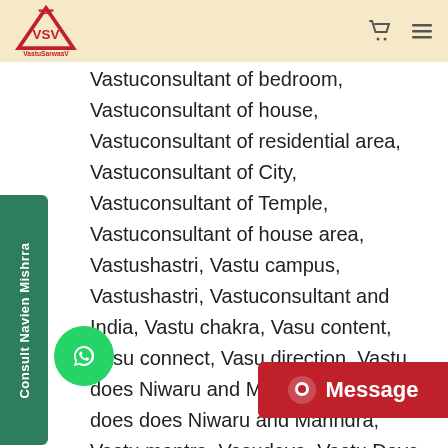VastuSarwasV
Vastuconsultant of bedroom, Vastuconsultant of house, Vastuconsultant of residential area, Vastuconsultant of City, Vastuconsultant of Temple, Vastuconsultant of house area, Vastushastri, Vastu campus, Vastushastri, Vastuconsultant and India, Vastu chakra, Vasu content, Vasu connect, Vasu direction, Vastu does Niwaru and Mantri, Vastu does does does Niwaru and Mahndra, Vastu mantra, Vasudeva, Vastu Dave danwantri, Vastu delta mantra they've done, Vasu righty, Vasu design, wish Vastu, Naveen and Vastu, Naveen and Vastu Roche common, common Vastu problem, and Vastu problem, common Vastu remedies, major bhaskar, Vastukar, Vastu expert in Jaipur, Vastu expert,